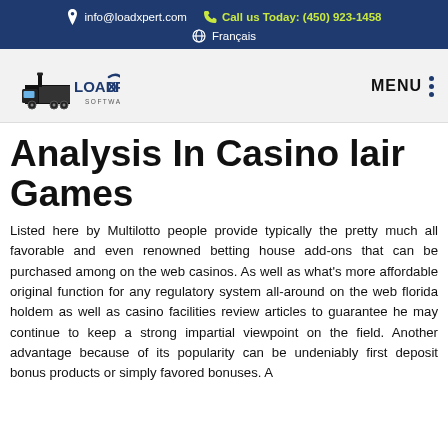info@loadxpert.com  Call us Today: (450) 923-1458  Français
[Figure (logo): LoadXpert Software logo with truck illustration]
Analysis In Casino lair Games
Listed here by Multilotto people provide typically the pretty much all favorable and even renowned betting house add-ons that can be purchased among on the web casinos. As well as what's more affordable original function for any regulatory system all-around on the web florida holdem as well as casino facilities review articles to guarantee he may continue to keep a strong impartial viewpoint on the field. Another advantage because of its popularity can be undeniably first deposit bonus products or simply favored bonuses. A